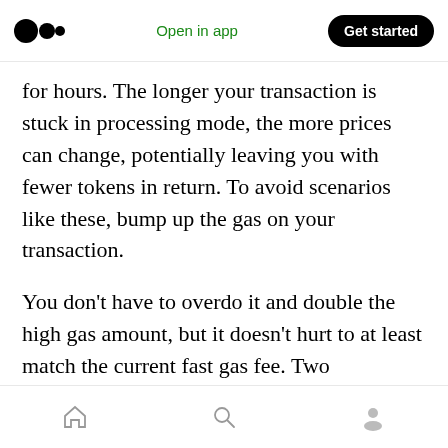Medium logo | Open in app | Get started
for hours. The longer your transaction is stuck in processing mode, the more prices can change, potentially leaving you with fewer tokens in return. To avoid scenarios like these, bump up the gas on your transaction.
You don’t have to overdo it and double the high gas amount, but it doesn’t hurt to at least match the current fast gas fee. Two invaluable resources when trying to figure out how much gas to pay are:
Etherscan Gas Tracker
Home | Search | Profile